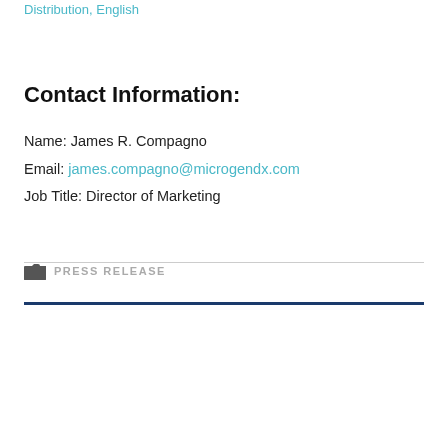Distribution, English
Contact Information:
Name: James R. Compagno
Email: james.compagno@microgendx.com
Job Title: Director of Marketing
PRESS RELEASE